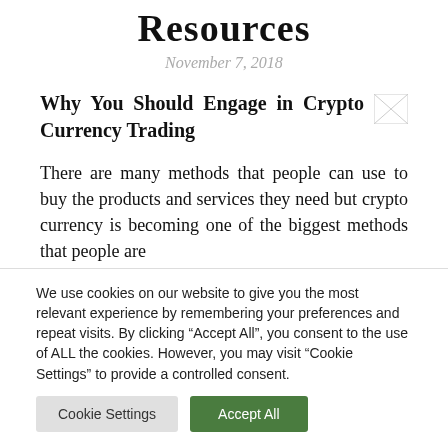Resources
November 7, 2018
Why You Should Engage in Crypto Currency Trading
There are many methods that people can use to buy the products and services they need but crypto currency is becoming one of the biggest methods that people are
We use cookies on our website to give you the most relevant experience by remembering your preferences and repeat visits. By clicking “Accept All”, you consent to the use of ALL the cookies. However, you may visit “Cookie Settings” to provide a controlled consent.